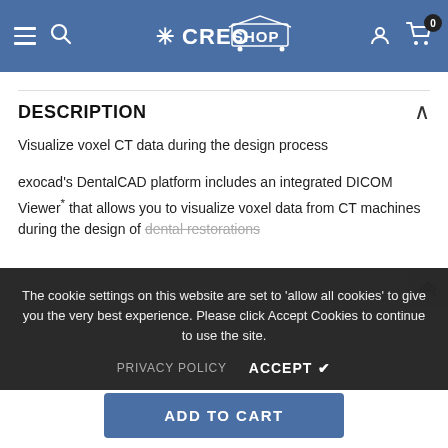CREO SHOP
DESCRIPTION
Visualize voxel CT data during the design process
exocad's DentalCAD platform includes an integrated DICOM Viewer* that allows you to visualize voxel data from CT machines during the design of dental restorations
The cookie settings on this website are set to 'allow all cookies' to give you the very best experience. Please click Accept Cookies to continue to use the site.
PRIVACY POLICY   ACCEPT ✔
ADD TO CART